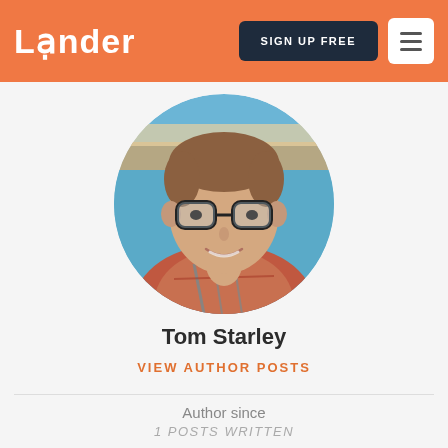Lander   SIGN UP FREE
[Figure (photo): Circular profile photo of Tom Starley, a young man with brown hair, glasses, and a plaid shirt, photographed against a blue background.]
Tom Starley
VIEW AUTHOR POSTS
Author since
1 POSTS WRITTEN
Website: